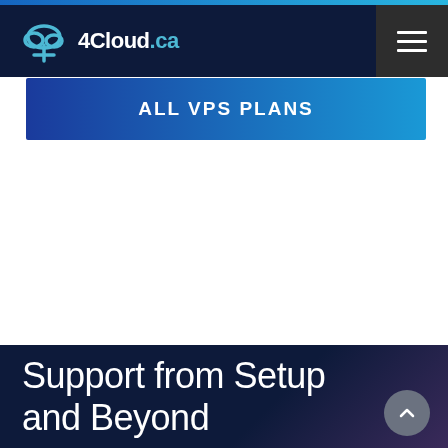4Cloud.ca
ALL VPS PLANS
Support from Setup and Beyond